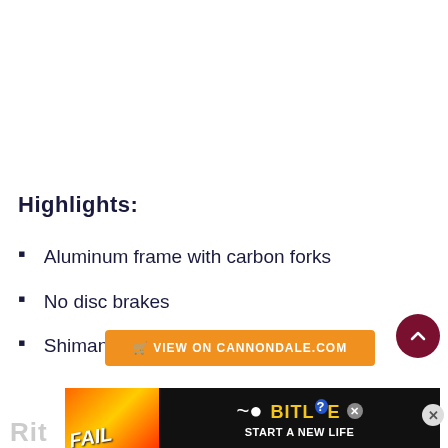Highlights:
Aluminum frame with carbon forks
No disc brakes
Shimano Sora 9-speed
VIEW ON CANNONDALE.COM
[Figure (screenshot): BitLife advertisement banner at bottom of page with fire imagery, FAIL text, BitLife logo, and 'START A NEW LIFE' tagline]
Rit